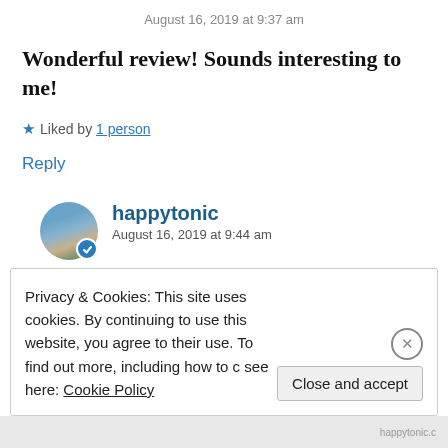August 16, 2019 at 9:37 am
Wonderful review! Sounds interesting to me!
★ Liked by 1 person
Reply
happytonic
August 16, 2019 at 9:44 am
Privacy & Cookies: This site uses cookies. By continuing to use this website, you agree to their use. To find out more, including how to c see here: Cookie Policy
Close and accept